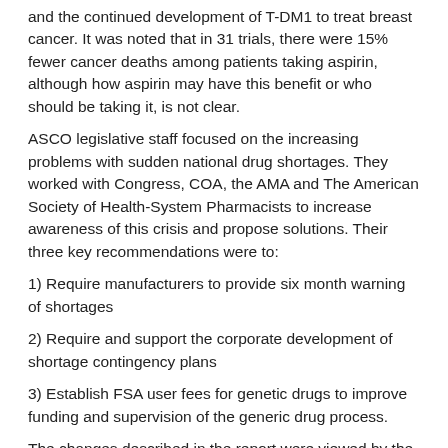and the continued development of T-DM1 to treat breast cancer.  It was noted that in 31 trials, there were 15% fewer cancer deaths among patients taking aspirin, although how aspirin may have this benefit or who should be taking it, is not clear.
ASCO legislative staff focused on the increasing problems with sudden national drug shortages.  They worked with Congress, COA, the AMA and The American Society of Health-System Pharmacists to increase awareness of this crisis and propose solutions.  Their three key recommendations were to:
1) Require manufacturers to provide six month warning of shortages
2) Require and support the corporate development of shortage contingency plans
3) Establish FSA user fees for genetic drugs to improve funding and supervision of the generic drug process.
The changes described in the report were viewed by the 21 members of ASCO’s Editorial Board, as practice changing.  Together they cast 2012 as a year of significant advance in the war on cancer.  It is the commitment of oncologists and ASCO that the movement toward cancer cure, more lives saved, will continue in the year to come.   How